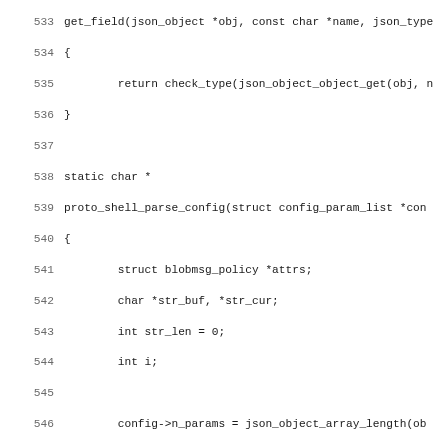[Figure (screenshot): Source code listing in C showing lines 533-564 of a file. The code shows a function get_field and a function proto_shell_parse_config with variable declarations and logic including struct blobmsg_policy, calloc, for loop, check_type calls, and goto error statements. Line numbers appear on the left in gray.]